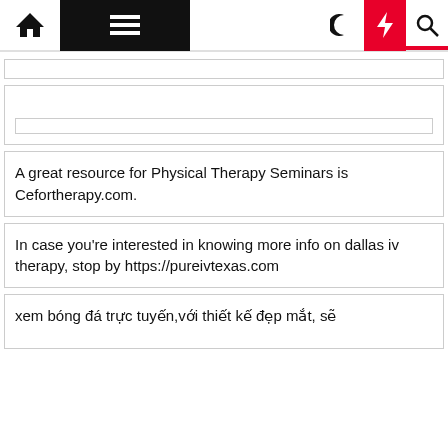Navigation bar with home icon, menu, moon, bolt, search icons
[Figure (screenshot): ]
[Figure (screenshot): ]
A great resource for Physical Therapy Seminars is Cefortherapy.com.
In case you're interested in knowing more info on dallas iv therapy, stop by https://pureivtexas.com
xem bóng đá trực tuyến,với thiết kế đẹp mắt, sẽ